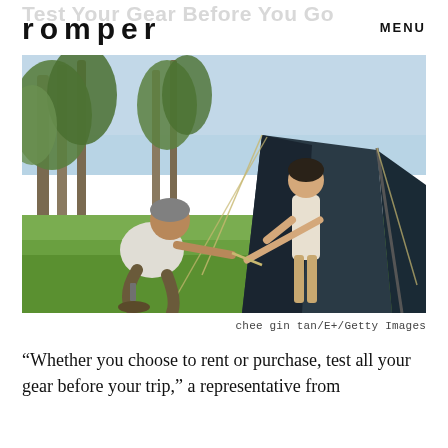Test Your Gear Before You Go
romper
MENU
[Figure (photo): Two people setting up a dark camping tent on grass, surrounded by trees. One person is crouching holding tent ropes while the other stands near the tent entrance.]
chee gin tan/E+/Getty Images
“Whether you choose to rent or purchase, test all your gear before your trip,” a representative from